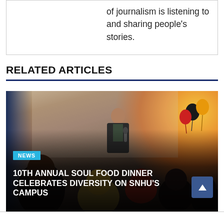of journalism is listening to and sharing people's stories.
RELATED ARTICLES
[Figure (photo): Man speaking into a microphone at an indoor event with balloons; audience seated in front; overlay text shows NEWS tag and article title]
NEWS
10TH ANNUAL SOUL FOOD DINNER CELEBRATES DIVERSITY ON SNHU'S CAMPUS